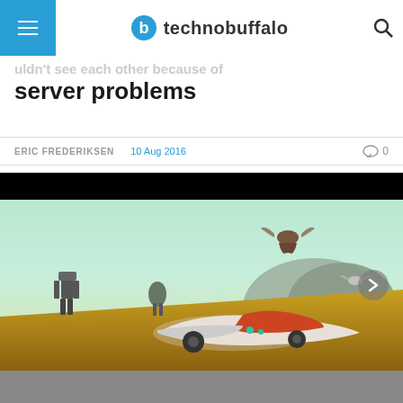technobuffalo
couldn't see each other because of server problems
ERIC FREDERIKSEN   10 Aug 2016   0
[Figure (screenshot): No Man's Sky gameplay screenshot showing a spaceship on an alien planet with golden grass, flying creatures, robots, and mountains in the background]